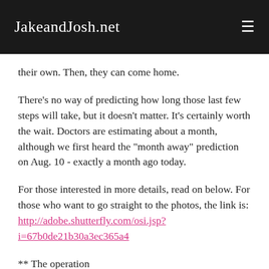JakeandJosh.net
their own. Then, they can come home.
There's no way of predicting how long those last few steps will take, but it doesn't matter. It's certainly worth the wait. Doctors are estimating about a month, although we first heard the "month away" prediction on Aug. 10 - exactly a month ago today.
For those interested in more details, read on below. For those who want to go straight to the photos, the link is: http://adobe.shutterfly.com/osi.jsp?i=67b0de21b30a3ec365a4
** The operation
Jake's surgery was last Friday and the doctor said he